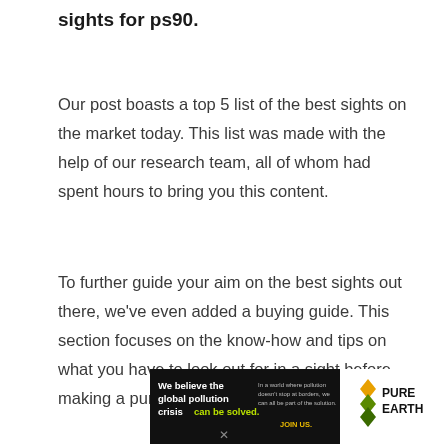sights for ps90.
Our post boasts a top 5 list of the best sights on the market today. This list was made with the help of our research team, all of whom had spent hours to bring you this content.
To further guide your aim on the best sights out there, we've even added a buying guide. This section focuses on the know-how and tips on what you have to look out for in a sight before making a purchase.
[Figure (infographic): Pure Earth advertisement banner with black background on left showing 'We believe the global pollution crisis can be solved.' and right side showing Pure Earth logo with diamond/chevron icon.]